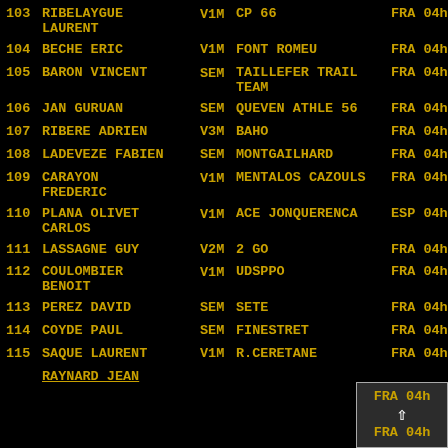| # | Name | Cat | Club | Country | Time |
| --- | --- | --- | --- | --- | --- |
| 103 | RIBELAYGUE LAURENT | V1M | CP 66 | FRA | 04h |
| 104 | BECHE ERIC | V1M | FONT ROMEU | FRA | 04h |
| 105 | BARON VINCENT | SEM | TAILLEFER TRAIL TEAM | FRA | 04h |
| 106 | JAN GURUAN | SEM | QUEVEN ATHLE 56 | FRA | 04h |
| 107 | RIBERE ADRIEN | V3M | BAHO | FRA | 04h |
| 108 | LADEVEZE FABIEN | SEM | MONTGAILHARD | FRA | 04h |
| 109 | CARAYON FREDERIC | V1M | MENTALOS CAZOULS | FRA | 04h |
| 110 | PLANA OLIVET CARLOS | V1M | ACE JONQUERENCA | ESP | 04h |
| 111 | LASSAGNE GUY | V2M | 2 GO | FRA | 04h |
| 112 | COULOMBIER BENOIT | V1M | UDSPPO | FRA | 04h |
| 113 | PEREZ DAVID | SEM | SETE | FRA | 04h |
| 114 | COYDE PAUL | SEM | FINESTRET | FRA | 04h |
| 115 | SAQUE LAURENT | V1M | R.CERETANE | FRA | 04h |
|  | RAYNARD JEAN |  |  |  |  |